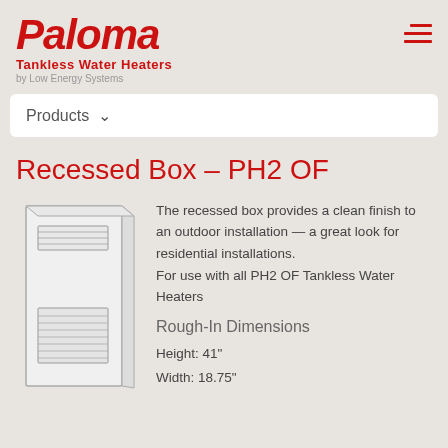[Figure (logo): Paloma Tankless Water Heaters by Low Energy Systems logo in red italic font]
Products
Recessed Box – PH2 OF
[Figure (illustration): Line drawing illustration of the Paloma PH2 OF recessed box water heater unit, showing front view with ventilation grilles]
The recessed box provides a clean finish to an outdoor installation — a great look for residential installations.
For use with all PH2 OF Tankless Water Heaters
Rough-In Dimensions
Height: 41"
Width: 18.75"